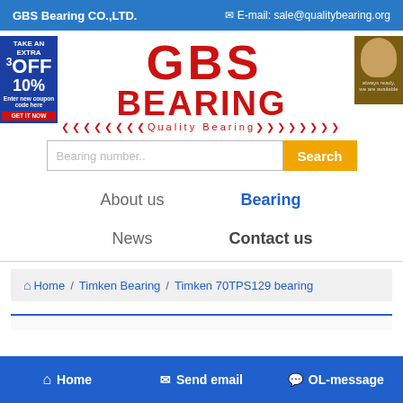GBS Bearing CO.,LTD.   ✉ E-mail: sale@qualitybearing.org
[Figure (logo): GBS Bearing logo with red block letters and Quality Bearing tagline]
Bearing number..  Search
About us
Bearing
News
Contact us
Home / Timken Bearing / Timken 70TPS129 bearing
Home   Send email   OL-message